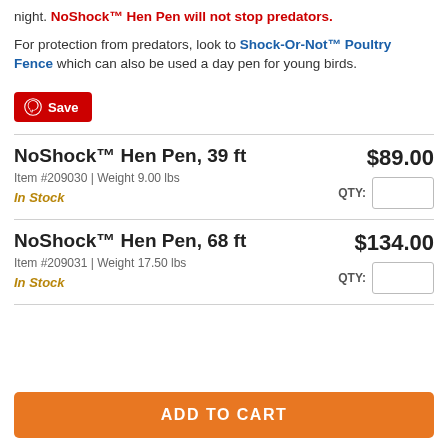night. NoShock™ Hen Pen will not stop predators.
For protection from predators, look to Shock-Or-Not™ Poultry Fence which can also be used a day pen for young birds.
[Figure (other): Pinterest Save button]
NoShock™ Hen Pen, 39 ft
Item #209030 | Weight 9.00 lbs
In Stock
$89.00
QTY:
NoShock™ Hen Pen, 68 ft
Item #209031 | Weight 17.50 lbs
In Stock
$134.00
QTY:
ADD TO CART